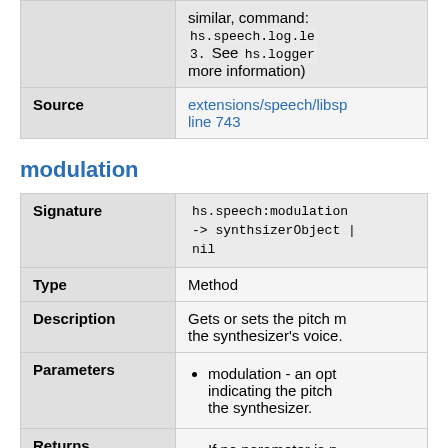|  |  |
| --- | --- |
|  | similar, command:
hs.speech.log.le
3. See hs.logger
more information) |
| Source | extensions/speech/libsp
line 743 |
modulation
|  |  |
| --- | --- |
| Signature | hs.speech:modulation
-> synthsizerObject |
nil |
| Type | Method |
| Description | Gets or sets the pitch m
the synthesizer's voice. |
| Parameters | modulation - an opt
indicating the pitch
the synthesizer. |
| Returns | If no parameter is p |